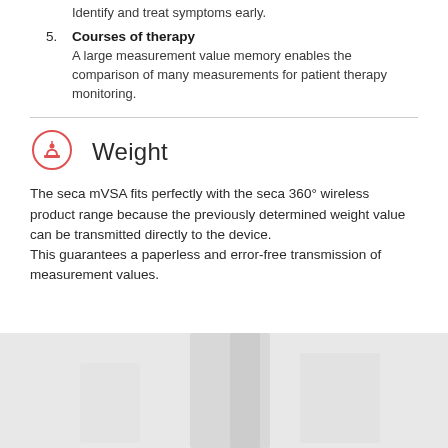Identify and treat symptoms early.
5. Courses of therapy
A large measurement value memory enables the comparison of many measurements for patient therapy monitoring.
Weight
The seca mVSA fits perfectly with the seca 360° wireless product range because the previously determined weight value can be transmitted directly to the device.
This guarantees a paperless and error-free transmission of measurement values.
[Figure (photo): Photo of a person in white clothing, lower body visible, light background]